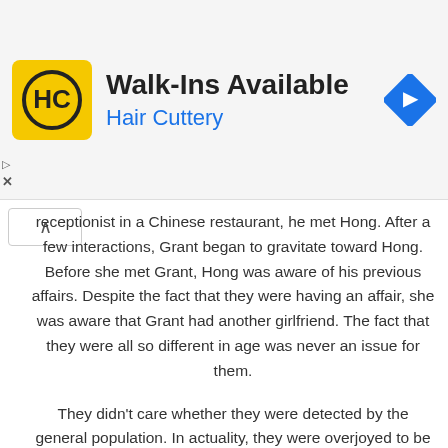[Figure (infographic): Hair Cuttery advertisement banner with yellow logo showing 'HC', text 'Walk-Ins Available' and 'Hair Cuttery' in blue, and a blue navigation diamond icon on the right.]
receptionist in a Chinese restaurant, he met Hong. After a few interactions, Grant began to gravitate toward Hong. Before she met Grant, Hong was aware of his previous affairs. Despite the fact that they were having an affair, she was aware that Grant had another girlfriend. The fact that they were all so different in age was never an issue for them.
They didn't care whether they were detected by the general population. In actuality, they were overjoyed to be able to publicly express their love. They were initially observed hugging in a bar in Fulham, South-West London, where they were both recorded. Following that, Tinglan Hong was frequently seen at the actor's